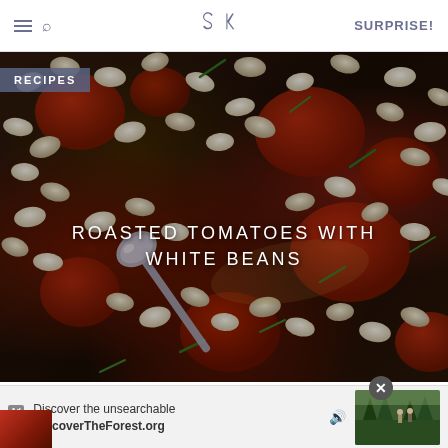SK | SURPRISE!
RECIPES
[Figure (photo): Close-up food photo of roasted tomatoes with white beans, showing a spoon among cannellini beans, roasted tomatoes, and green herbs in a baking dish]
ROASTED TOMATOES WITH WHITE BEANS
[Figure (other): Advertisement banner: 'Discover the unsearchable / DiscoverTheForest.org' with an Ad badge, speaker icon, forest photo showing people walking among trees, and a close button (X)]